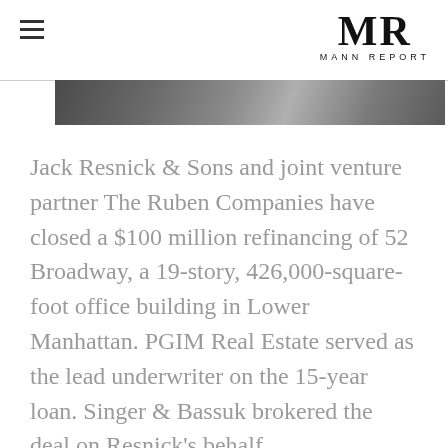MR MANN REPORT
[Figure (photo): Partial photograph of a building or architectural scene, shown as a horizontal strip at the top of the page]
Jack Resnick & Sons and joint venture partner The Ruben Companies have closed a $100 million refinancing of 52 Broadway, a 19-story, 426,000-square-foot office building in Lower Manhattan. PGIM Real Estate served as the lead underwriter on the 15-year loan. Singer & Bassuk brokered the deal on Resnick's behalf.